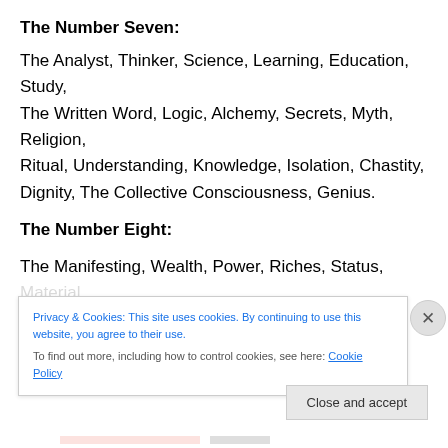The Number Seven:
The Analyst, Thinker, Science, Learning, Education, Study, The Written Word, Logic, Alchemy, Secrets, Myth, Religion,
Ritual, Understanding, Knowledge, Isolation, Chastity, Dignity, The Collective Consciousness, Genius.
The Number Eight:
The Manifesting, Wealth, Power, Riches, Status, Material, Pragmatism, The Ego, Provision, Aggregation,
Privacy & Cookies: This site uses cookies. By continuing to use this website, you agree to their use.
To find out more, including how to control cookies, see here: Cookie Policy
Close and accept